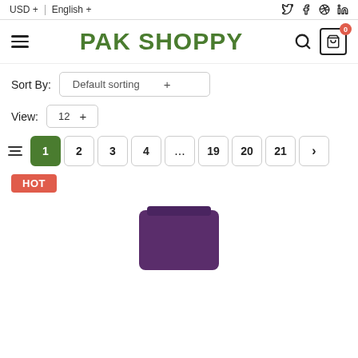USD + | English + | (social icons: Twitter, Facebook, Dribbble, LinkedIn)
PAK SHOPPY
Sort By: Default sorting +
View: 12 +
1 2 3 4 ... 19 20 21 >
HOT